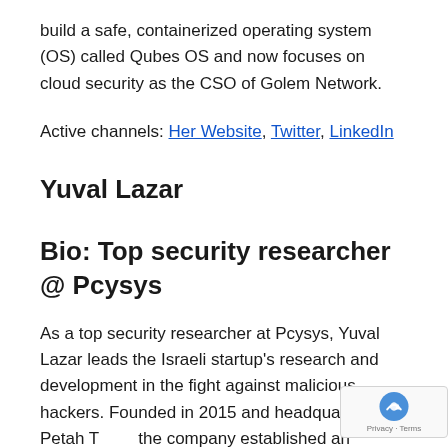build a safe, containerized operating system (OS) called Qubes OS and now focuses on cloud security as the CSO of Golem Network.
Active channels: Her Website, Twitter, LinkedIn
Yuval Lazar
Bio: Top security researcher @ Pcysys
As a top security researcher at Pcysys, Yuval Lazar leads the Israeli startup's research and development in the fight against malicious hackers. Founded in 2015 and headquartered in Petah Tikva, the company established an agentless and fully